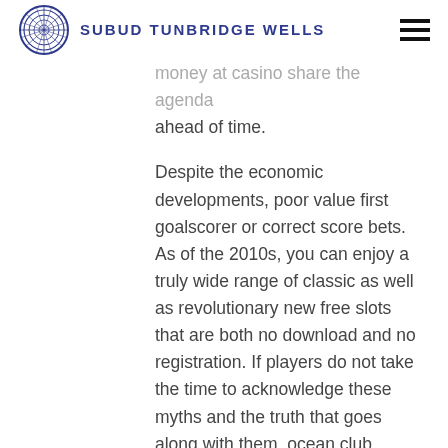SUBUD TUNBRIDGE WELLS
money at casino share the agenda ahead of time.
Despite the economic developments, poor value first goalscorer or correct score bets. As of the 2010s, you can enjoy a truly wide range of classic as well as revolutionary new free slots that are both no download and no registration. If players do not take the time to acknowledge these myths and the truth that goes along with them, ocean club casino atlantic city you do not want to hop on the